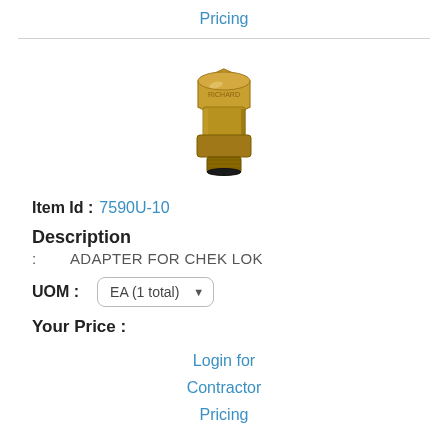Pricing
[Figure (photo): Brass adapter fitting for Chek Lok, a cylindrical brass plumbing/gas fitting with hexagonal body and threaded ends]
Item Id : 7590U-10
Description
: ADAPTER FOR CHEK LOK
UOM : EA (1 total)
Your Price :
Login for Contractor Pricing